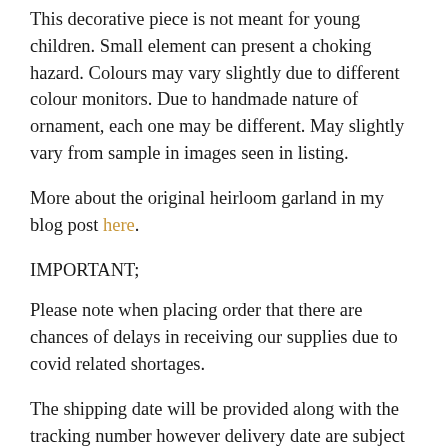This decorative piece is not meant for young children. Small element can present a choking hazard. Colours may vary slightly due to different colour monitors. Due to handmade nature of ornament, each one may be different. May slightly vary from sample in images seen in listing.
More about the original heirloom garland in my blog post here.
IMPORTANT;
Please note when placing order that there are chances of delays in receiving our supplies due to covid related shortages.
The shipping date will be provided along with the tracking number however delivery date are subject to change